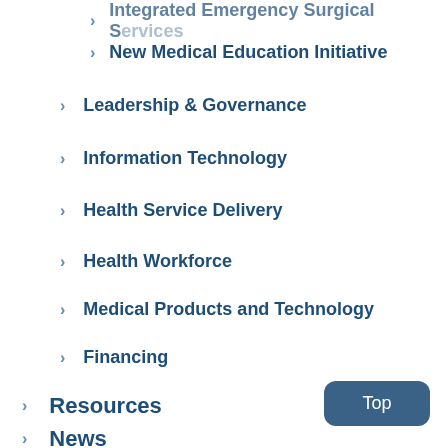Integrated Emergency Surgical Services (partial, clipped at top)
New Medical Education Initiative
Leadership & Governance
Information Technology
Health Service Delivery
Health Workforce
Medical Products and Technology
Financing
Resources
News
Contact